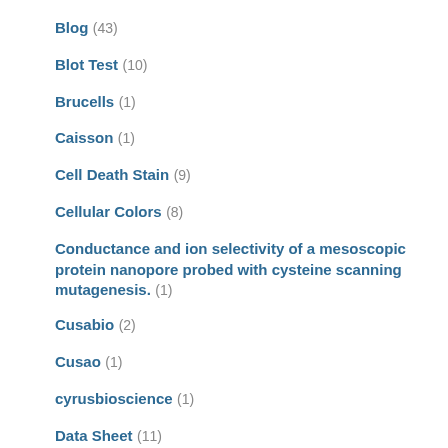Blog (43)
Blot Test (10)
Brucells (1)
Caisson (1)
Cell Death Stain (9)
Cellular Colors (8)
Conductance and ion selectivity of a mesoscopic protein nanopore probed with cysteine scanning mutagenesis. (1)
Cusabio (2)
Cusao (1)
cyrusbioscience (1)
Data Sheet (11)